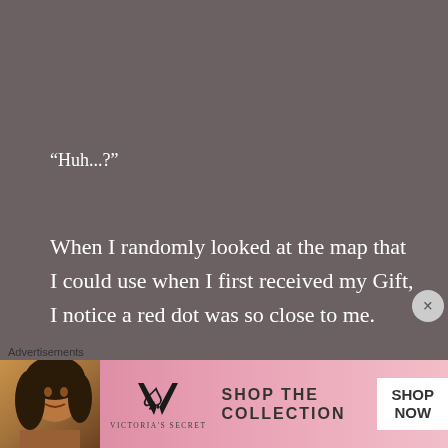“Huh...?”
When I randomly looked at the map that I could use when I first received my Gift, I notice a red dot was so close to me.
A black dot on the map meant an ordinary villager, but a red dot meant a hostile individual
[Figure (other): Victoria's Secret advertisement banner with model photo, VS logo, 'SHOP THE COLLECTION' text, and 'SHOP NOW' button]
Advertisements